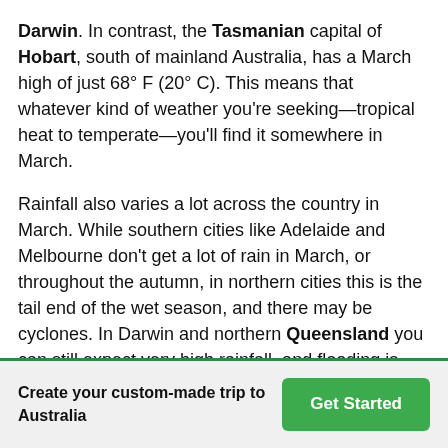Darwin. In contrast, the Tasmanian capital of Hobart, south of mainland Australia, has a March high of just 68° F (20° C). This means that whatever kind of weather you're seeking—tropical heat to temperate—you'll find it somewhere in March.
Rainfall also varies a lot across the country in March. While southern cities like Adelaide and Melbourne don't get a lot of rain in March, or throughout the autumn, in northern cities this is the tail end of the wet season, and there may be cyclones. In Darwin and northern Queensland you can still expect very high rainfall, and flooding is common, so it's best to avoid these areas in March. Brisbane, in southern Queensland, is also quite wet. Sydney gets most of its annual rainfall in the autumn and early winter, so expect showers here.
Create your custom-made trip to Australia
Get Started